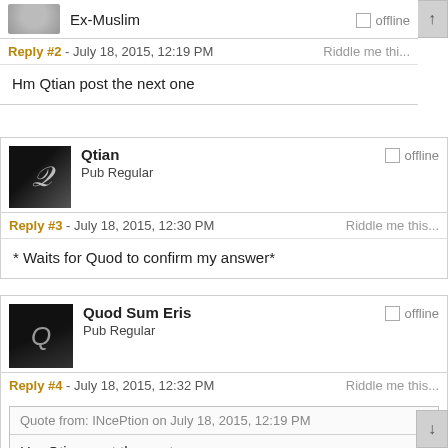Ex-Muslim | offline | Reply #2 - July 18, 2015, 12:19 PM | Riddle me thi... | Hm Qtian post the next one
Qtian | Pub Regular | offline | Reply #3 - July 18, 2015, 12:30 PM | Riddle me this... | * Waits for Quod to confirm my answer*
Quod Sum Eris | Pub Regular | offline | Reply #4 - July 18, 2015, 12:32 PM | Riddle me this... | Quote from: INcePtion on July 18, 2015, 12:19 PM | Hm Qtian post the next one | End quo...